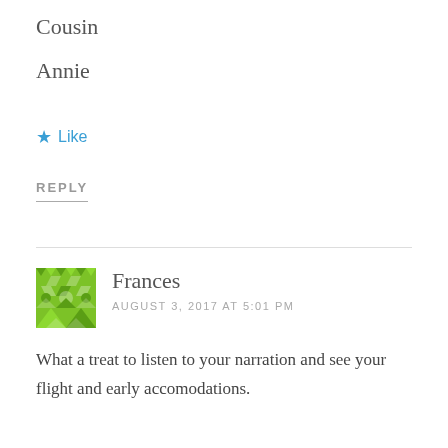Cousin
Annie
★ Like
REPLY
Frances
AUGUST 3, 2017 AT 5:01 PM
What a treat to listen to your narration and see your flight and early accomodations.